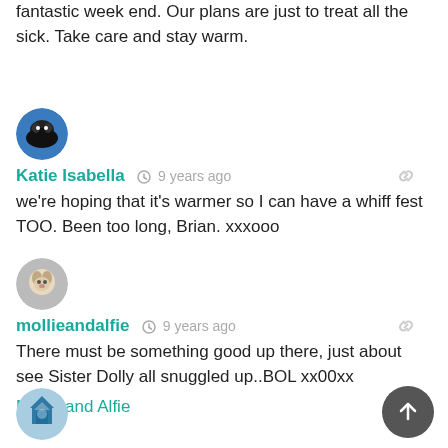fantastic week end. Our plans are just to treat all the sick. Take care and stay warm.
Katie Isabella  9 years ago
we're hoping that it's warmer so I can have a whiff fest TOO. Been too long, Brian. xxxooo
mollieandalfie  9 years ago
There must be something good up there, just about see Sister Dolly all snuggled up..BOL xx00xx
Mollie and Alfie
Pat Hatt  9 years ago